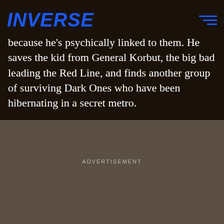INVERSE
because he's psychically linked to them. He saves the kid from General Korbut, the big bad leading the Red Line, and finds another group of surviving Dark Ones who have been hibernating in a secret metro.
ADVERTISEMENT